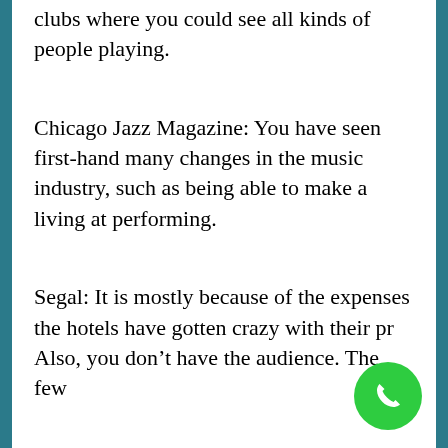clubs where you could see all kinds of people playing.
Chicago Jazz Magazine: You have seen first-hand many changes in the music industry, such as being able to make a living at performing.
Segal: It is mostly because of the expenses the hotels have gotten crazy with their pr… Also, you don't have the audience. The few